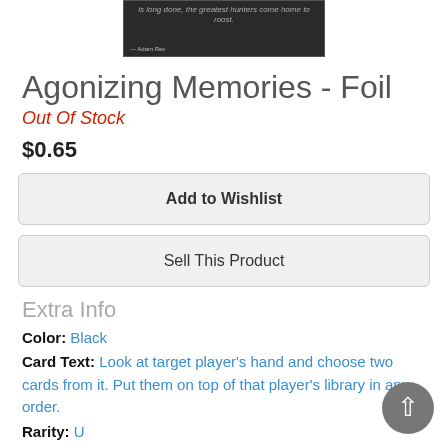[Figure (illustration): Partial view of a Magic: The Gathering card image showing dark artwork with italic flavor text and artist credit 'Adam Rex']
Agonizing Memories - Foil
Out Of Stock
$0.65
Add to Wishlist
Sell This Product
Extra Info
Color: Black
Card Text: Look at target player's hand and choose two cards from it. Put them on top of that player's library in any order.
Rarity: U